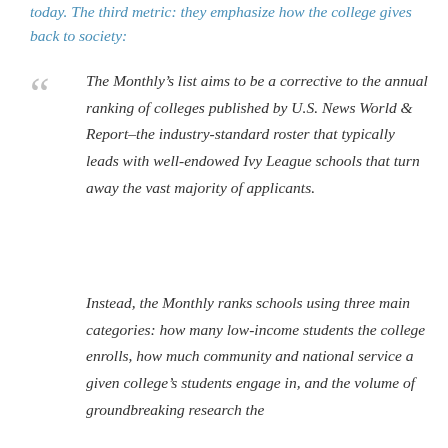today. The third metric: they emphasize how the college gives back to society:
The Monthly's list aims to be a corrective to the annual ranking of colleges published by U.S. News World & Report–the industry-standard roster that typically leads with well-endowed Ivy League schools that turn away the vast majority of applicants.
Instead, the Monthly ranks schools using three main categories: how many low-income students the college enrolls, how much community and national service a given college's students engage in, and the volume of groundbreaking research the